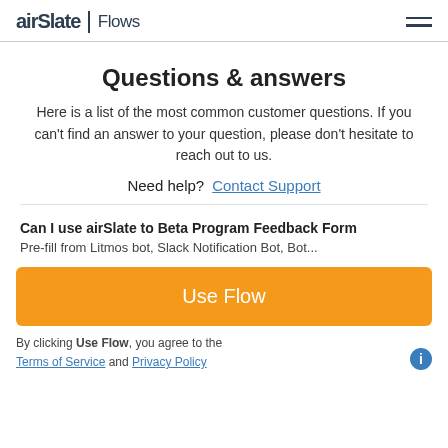airSlate | Flows
Questions & answers
Here is a list of the most common customer questions. If you can't find an answer to your question, please don't hesitate to reach out to us.
Need help?  Contact Support
Can I use airSlate to Beta Program Feedback Form Pre-fill from Litmos bot, Slack Notification Bot, Bot...
Use Flow
By clicking Use Flow, you agree to the Terms of Service and Privacy Policy